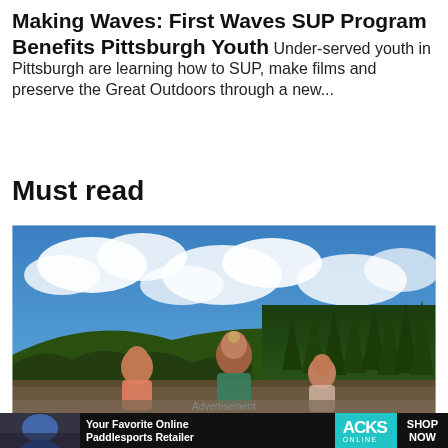Making Waves: First Waves SUP Program Benefits Pittsburgh Youth
Under-served youth in Pittsburgh are learning how to SUP, make films and preserve the Great Outdoors through a new...
Must read
[Figure (photo): Three young women outdoors near a mountain lake or river, blue sky with white clouds above, dense pine forest in the background. The women are in summer attire.]
Advertisement
[Figure (infographic): Advertisement banner: 'Your Favorite Online Paddlesports Retailer' on the left with a photo of a kayaker. CKS Online logo in teal with 'SHOP NOW' button on the right.]